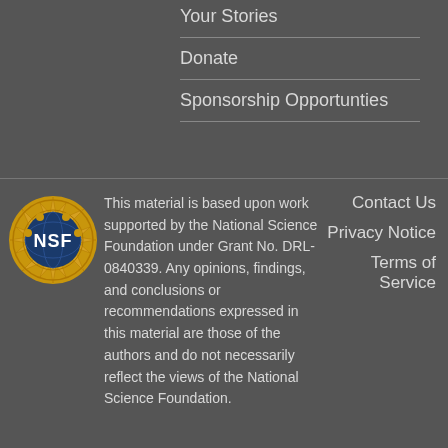Your Stories
Donate
Sponsorship Opportunties
[Figure (logo): NSF (National Science Foundation) logo — gold sunburst with globe and NSF text]
This material is based upon work supported by the National Science Foundation under Grant No. DRL-0840339. Any opinions, findings, and conclusions or recommendations expressed in this material are those of the authors and do not necessarily reflect the views of the National Science Foundation.
Contact Us
Privacy Notice
Terms of Service